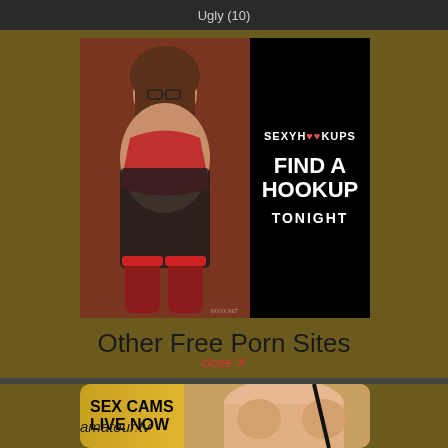Ugly (10)
[Figure (advertisement): Adult dating advertisement banner showing a woman in red lingerie on the left side and on the right black background with text: SEXYHOOKUPS - FIND A HOOKUP TONIGHT]
Other Free Porn Sites
close x
[Figure (advertisement): Adult webcam advertisement with yellow/gold background showing SEX CAMS LIVE NOW text and a partial photo of a woman, with amateur.tv branding below]